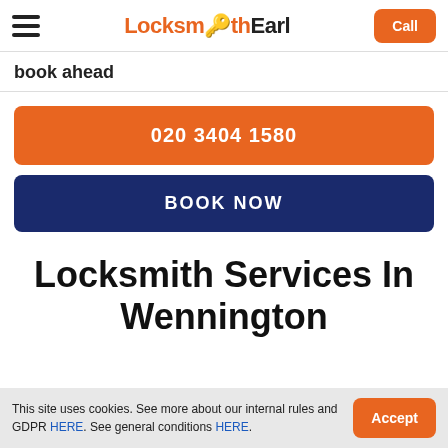Locksmith Earl — Call
book ahead
020 3404 1580
BOOK NOW
Locksmith Services In Wennington
This site uses cookies. See more about our internal rules and GDPR HERE. See general conditions HERE.